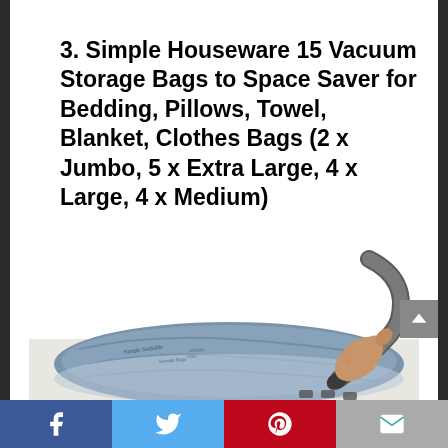3. Simple Houseware 15 Vacuum Storage Bags to Space Saver for Bedding, Pillows, Towel, Blanket, Clothes Bags (2 x Jumbo, 5 x Extra Large, 4 x Large, 4 x Medium)
[Figure (photo): A person using a vacuum cleaner hose attachment to remove air from a blue/clear vacuum storage compression bag containing bedding/clothes, placed on a white surface. The bag has text printed on it.]
Facebook | Twitter | Pinterest | Email social share bar